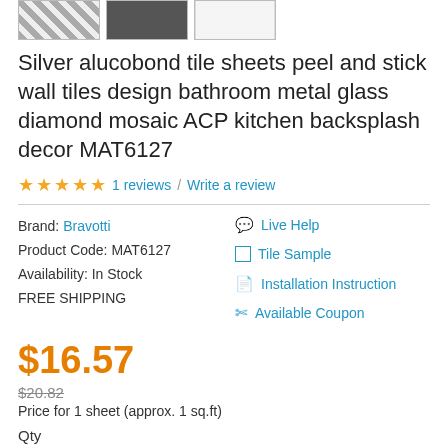[Figure (photo): Three product thumbnail images: mosaic tile pattern, dark tile photo, white/blank tile]
Silver alucobond tile sheets peel and stick wall tiles design bathroom metal glass diamond mosaic ACP kitchen backsplash decor MAT6127
★★★★★ 1 reviews / Write a review
Brand: Bravotti
Product Code: MAT6127
Availability: In Stock
FREE SHIPPING
Live Help
Tile Sample
Installation Instruction
Available Coupon
$16.57
$20.82
Price for 1 sheet (approx. 1 sq.ft)
Qty
20    Sheets